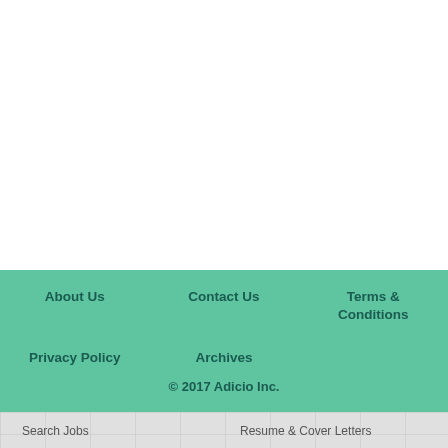About Us  Contact Us  Terms & Conditions  Privacy Policy  Archives  © 2017 Adicio Inc.
Search Jobs
Resume & Cover Letters
Advanced Job Search
Manage Resumes